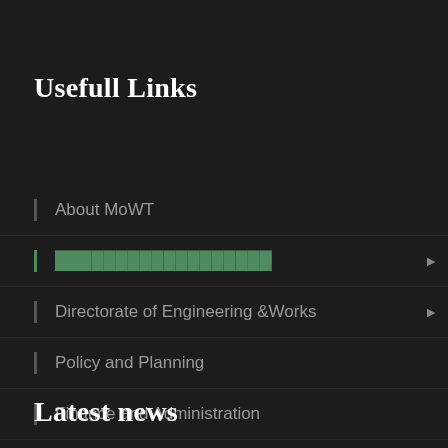Usefull Links
About MoWT
[highlighted link — obscured]
Directorate of Engineering &Works
Policy and Planning
Finance and Administration
Latest news